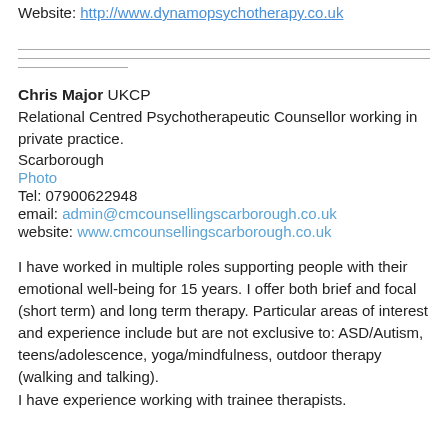Website: http://www.dynamopsychotherapy.co.uk
Chris Major UKCP
Relational Centred Psychotherapeutic Counsellor working in private practice.
Scarborough
Photo
Tel: 07900622948
email: admin@cmcounsellingscarborough.co.uk
website: www.cmcounsellingscarborough.co.uk
I have worked in multiple roles supporting people with their emotional well-being for 15 years. I offer both brief and focal (short term) and long term therapy. Particular areas of interest and experience include but are not exclusive to: ASD/Autism, teens/adolescence, yoga/mindfulness, outdoor therapy (walking and talking).
I have experience working with trainee therapists.